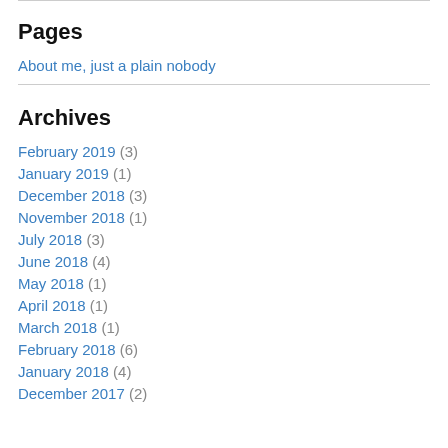Pages
About me, just a plain nobody
Archives
February 2019 (3)
January 2019 (1)
December 2018 (3)
November 2018 (1)
July 2018 (3)
June 2018 (4)
May 2018 (1)
April 2018 (1)
March 2018 (1)
February 2018 (6)
January 2018 (4)
December 2017 (2)